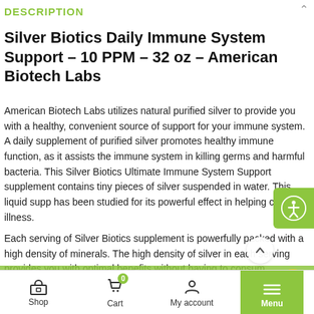DESCRIPTION
Silver Biotics Daily Immune System Support – 10 PPM – 32 oz – American Biotech Labs
American Biotech Labs utilizes natural purified silver to provide you with a healthy, convenient source of support for your immune system. A daily supplement of purified silver promotes healthy immune function, as it assists the immune system in killing germs and harmful bacteria. This Silver Biotics Ultimate Immune System Support supplement contains tiny pieces of silver suspended in water. This liquid supp has been studied for its powerful effect in helping cure illness.
Each serving of Silver Biotics supplement is powerfully packed with a high density of minerals. The high density of silver in each serving provides you with optimal benefits without having to consum
Shop    Cart    My account    Menu